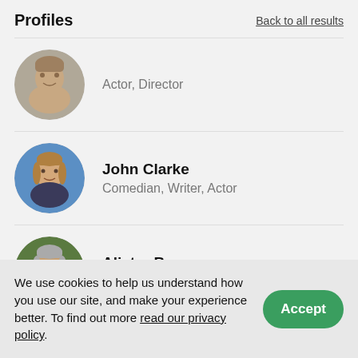Profiles
Back to all results
[Figure (photo): Circular profile photo of a man (partially cropped at top), Actor, Director]
Actor, Director
[Figure (photo): Circular profile photo of John Clarke, middle-aged man with brown hair against a blue background]
John Clarke
Comedian, Writer, Actor
[Figure (photo): Circular profile photo of Alister Barry, older man with grey hair against a green leafy background]
Alister Barry
Director, Writer
We use cookies to help us understand how you use our site, and make your experience better. To find out more read our privacy policy.